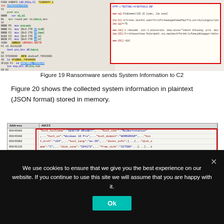[Figure (screenshot): Debugger view with disassembly on the left and an HTTP request/response in a red-bordered box on the right, showing ransomware sending system information to a C2 server.]
Figure 19 Ransomware sends System Information to C2
Figure 20 shows the collected system information in plaintext (JSON format) stored in memory.
[Figure (screenshot): Memory dump table showing Address and ASCII columns. A red-bordered box highlights JSON data: {"host_hostname":"DESKTOP-RR1AB77",..."host_user":"MalWorkstation",..."host_os":"Windows 10 Pro",..."host_domain":"WORKGROUP",..."host_arch":"x64",..."host_lang":"en-IN",..."disks_info":[...{..."disk_name":"C",..."disk_size":"204173",..."free_size":"157586"...}...]...s]
Figure 20 The JSON Data which has been sent to C2
We use cookies to ensure that we give you the best experience on our website. If you continue to use this site we will assume that you are happy with it.